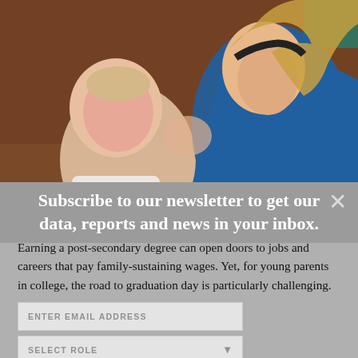[Figure (photo): A mother comforting a crying baby, touching foreheads together. The woman has blonde hair in a ponytail, wears a blue top and dark headband. Background is warm brown tones.]
Subscribe to our newsletter to get our data, reports and news in your inbox.
Earning a post-secondary degree can open doors to jobs and careers that pay family-sustaining wages. Yet, for young parents in college, the road to graduation day is particularly challenging.
In this post, the Annie E. Casey Foundation draws on numerous sources — including some efforts it funded — to examine who America's student parents are, where they struggle, and what supports and services they need to succeed.